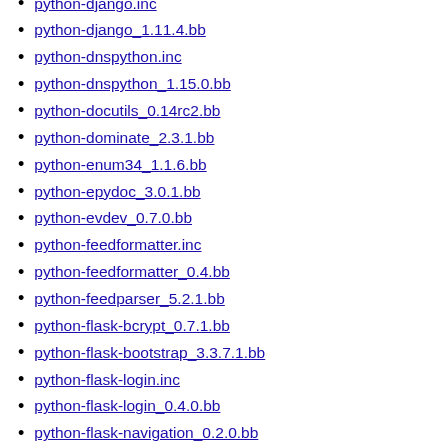python-django.inc
python-django_1.11.4.bb
python-dnspython.inc
python-dnspython_1.15.0.bb
python-docutils_0.14rc2.bb
python-dominate_2.3.1.bb
python-enum34_1.1.6.bb
python-epydoc_3.0.1.bb
python-evdev_0.7.0.bb
python-feedformatter.inc
python-feedformatter_0.4.bb
python-feedparser_5.2.1.bb
python-flask-bcrypt_0.7.1.bb
python-flask-bootstrap_3.3.7.1.bb
python-flask-login.inc
python-flask-login_0.4.0.bb
python-flask-navigation_0.2.0.bb
python-flask-pymongo.inc
python-flask-pymongo_0.5.1.bb
python-flask-sqlalchemy_2.2.bb
python-flask-wtf
python-flask-wtf_0.12.bb
python-flask.inc
python-flask_0.12.2.bb
python-funcsigs_1.0.2.bb